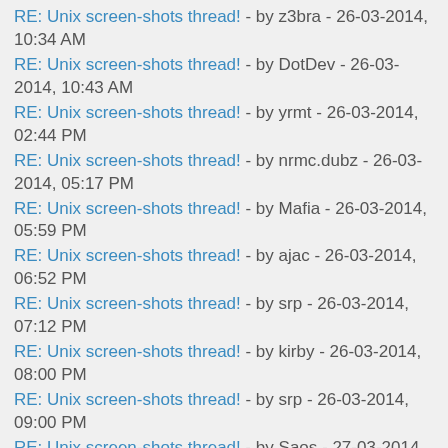RE: Unix screen-shots thread! - by z3bra - 26-03-2014, 10:34 AM
RE: Unix screen-shots thread! - by DotDev - 26-03-2014, 10:43 AM
RE: Unix screen-shots thread! - by yrmt - 26-03-2014, 02:44 PM
RE: Unix screen-shots thread! - by nrmc.dubz - 26-03-2014, 05:17 PM
RE: Unix screen-shots thread! - by Mafia - 26-03-2014, 05:59 PM
RE: Unix screen-shots thread! - by ajac - 26-03-2014, 06:52 PM
RE: Unix screen-shots thread! - by srp - 26-03-2014, 07:12 PM
RE: Unix screen-shots thread! - by kirby - 26-03-2014, 08:00 PM
RE: Unix screen-shots thread! - by srp - 26-03-2014, 09:00 PM
RE: Unix screen-shots thread! - by Saos - 27-03-2014, 06:59 PM
RE: Unix screen-shots thread! - by kirby - 27-03-2014, 07:24 PM
RE: Unix screen-shots thread! - by Saos - 27-03-2014, 07:32 PM